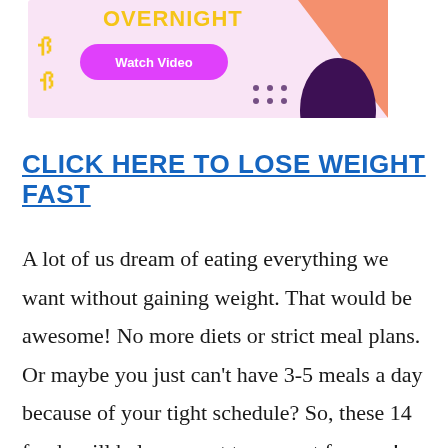[Figure (illustration): Advertisement banner with pink/purple background, a 'Watch Video' button in magenta, yellow squiggle decoration, orange text partially visible at top, salmon triangle shape on right, dark purple rounded shape, and dotted pattern.]
CLICK HERE TO LOSE WEIGHT FAST
A lot of us dream of eating everything we want without gaining weight. That would be awesome! No more diets or strict meal plans. Or maybe you just can't have 3-5 meals a day because of your tight schedule? So, these 14 foods will help you not to overeat for sure!